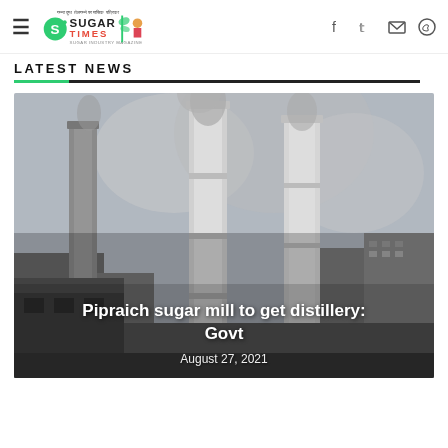Sugar Times — Sugar Industry Magazine
LATEST NEWS
[Figure (photo): Industrial sugar mill with tall white chimneys emitting smoke, large factory buildings visible in a hazy atmosphere. Overlaid text reads 'Pipraich sugar mill to get distillery: Govt' and 'August 27, 2021'.]
Pipraich sugar mill to get distillery: Govt — August 27, 2021